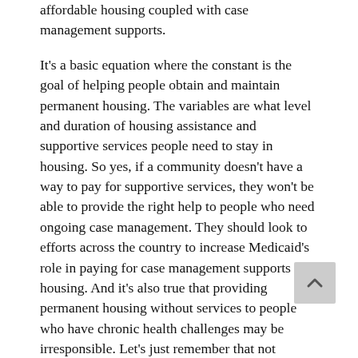affordable housing coupled with case management supports.

It's a basic equation where the constant is the goal of helping people obtain and maintain permanent housing. The variables are what level and duration of housing assistance and supportive services people need to stay in housing. So yes, if a community doesn't have a way to pay for supportive services, they won't be able to provide the right help to people who need ongoing case management. They should look to efforts across the country to increase Medicaid's role in paying for case management supports in housing. And it's also true that providing permanent housing without services to people who have chronic health challenges may be irresponsible. Let's just remember that not everyone needs ongoing case management to maintain housing stability.